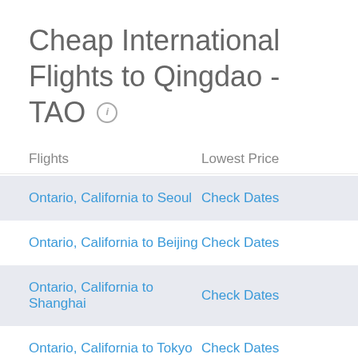Cheap International Flights to Qingdao - TAO
| Flights | Lowest Price |
| --- | --- |
| Ontario, California to Seoul | Check Dates |
| Ontario, California to Beijing | Check Dates |
| Ontario, California to Shanghai | Check Dates |
| Ontario, California to Tokyo | Check Dates |